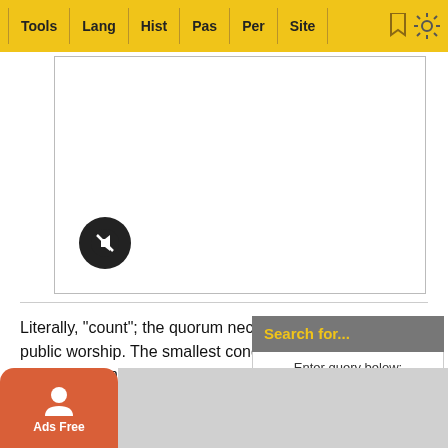Tools | Lang | Hist | Pas | Per | Site
[Figure (screenshot): White content box with a mute/audio-off button (black circle with microphone-off icon) in the lower left]
Literally, "count"; the quorum necessary for public worship. The smallest congregation which is permitted to hold public worship is one made up of ten men, boys over thirteen years being for this, as for other religious purposes, counted as men. See MIẒWAH.
The minimum of ten is evidently a surv... the m...
[Figure (screenshot): Search sidebar with 'Search for...' header, query input box with Go! button, and alphabet letter browser showing A B C D E F G H I J K L M N S]
[Figure (screenshot): Ads Free orange button overlay in bottom left corner]